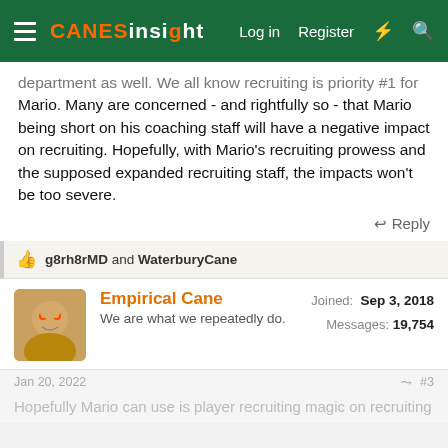CANES INSIGHT | Log in | Register
department as well. We all know recruiting is priority #1 for Mario. Many are concerned - and rightfully so - that Mario being short on his coaching staff will have a negative impact on recruiting. Hopefully, with Mario's recruiting prowess and the supposed expanded recruiting staff, the impacts won't be too severe.
Reply
👍 g8rh8rMD and WaterburyCane
Empirical Cane
We are what we repeatedly do.
Joined: Sep 3, 2018
Messages: 19,754
Jan 20, 2022 | #3
Hopefully Mario can use is player recruiting magic on recruiting